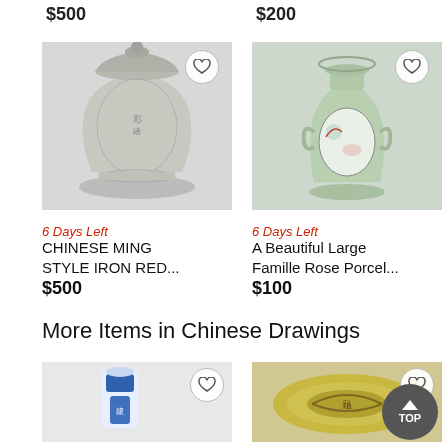$500
$200
[Figure (photo): Chinese Ming Style Iron Red decorative lidded ceramic jar/vase with intricate floral and bird pattern in grey/white tones]
[Figure (photo): A Beautiful Large Famille Rose Porcelain vase in pale celadon green with painted bird and floral oval medallion]
6 Days Left
CHINESE MING STYLE IRON RED...
$500
6 Days Left
A Beautiful Large Famille Rose Porcel...
$100
More Items in Chinese Drawings
[Figure (photo): Small blue and white Chinese ceramic figurine/vase]
[Figure (photo): Decorative Chinese dish/plate with colorful pattern]